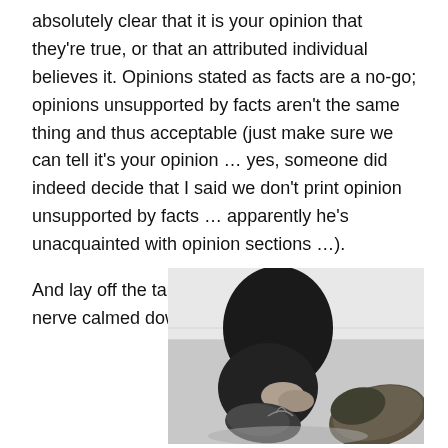absolutely clear that it is your opinion that they're true, or that an attributed individual believes it. Opinions stated as facts are a no-go; opinions unsupported by facts aren't the same thing and thus acceptable (just make sure we can tell it's your opinion … yes, someone did indeed decide that I said we don't print opinion unsupported by facts … apparently he's unacquainted with opinion sections …).

And lay off the tap shoes, please. I just got that nerve calmed down.
[Figure (photo): Black and white photo of a person sitting on a floor tying or adjusting tap shoes, with one shoe prominently visible in the foreground.]